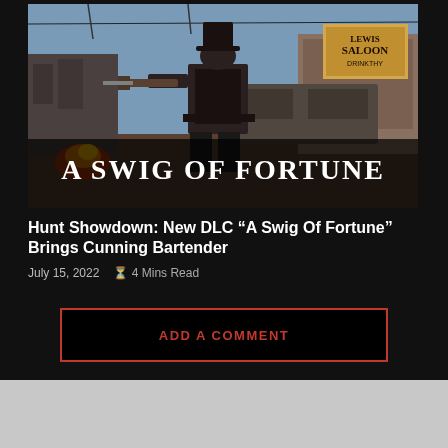[Figure (screenshot): Game screenshot from Hunt: Showdown DLC 'A Swig of Fortune' showing a western gunslinger character holding a shotgun in front of a saloon building, with the text 'A SWIG OF FORTUNE' overlaid at the bottom of the image.]
Hunt Showdown: New DLC “A Swig Of Fortune” Brings Cunning Bartender
July 15, 2022   ⌛ 4 Mins Read
ADD A COMMENT